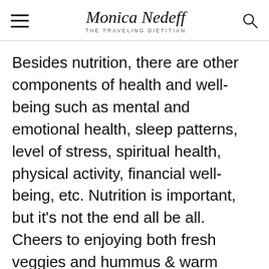Monica Nedeff — The Traveling Dietitian
Besides nutrition, there are other components of health and well-being such as mental and emotional health, sleep patterns, level of stress, spiritual health, physical activity, financial well-being, etc. Nutrition is important, but it's not the end all be all. Cheers to enjoying both fresh veggies and hummus & warm chocolate chip cookies! - Monica